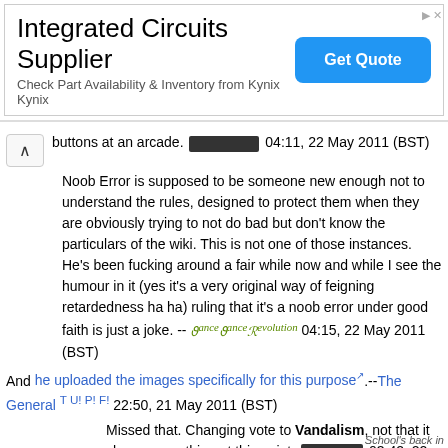[Figure (screenshot): Advertisement banner for 'Integrated Circuits Supplier' with 'Get Quote' button, close/arrow icons top right]
buttons at an arcade. [REDACTED] 04:11, 22 May 2011 (BST)
Noob Error is supposed to be someone new enough not to understand the rules, designed to protect them when they are obviously trying to not do bad but don't know the particulars of the wiki. This is not one of those instances. He's been fucking around a fair while now and while I see the humour in it (yes it's a very original way of feigning retardedness ha ha) ruling that it's a noob error under good faith is just a joke. -- VanceVanceRevolution 04:15, 22 May 2011 (BST)
And he uploaded the images specifically for this purpose.--The General T U! P! F! 22:50, 21 May 2011 (BST)
Missed that. Changing vote to Vandalism, not that it changes anything at this point. [REDACTED] 03:42, 22 May 2011 (BST)
Messing with policies is a double-edged sword. --Akule ...
School's back in